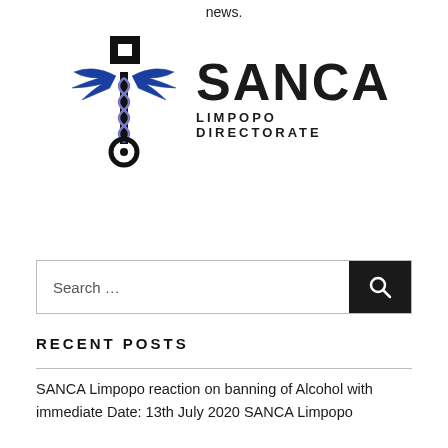news.
[Figure (logo): SANCA Limpopo Directorate logo featuring a caduceus-style medical symbol with blue wings and the text SANCA LIMPOPO DIRECTORATE]
Search …
RECENT POSTS
SANCA Limpopo reaction on banning of Alcohol with immediate Date: 13th July 2020 SANCA Limpopo